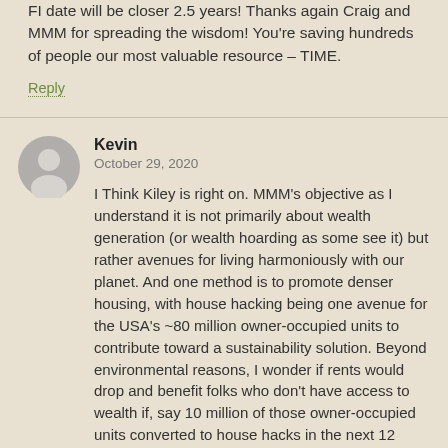FI date will be closer 2.5 years! Thanks again Craig and MMM for spreading the wisdom! You're saving hundreds of people our most valuable resource – TIME.
Reply
Kevin
October 29, 2020
I Think Kiley is right on. MMM's objective as I understand it is not primarily about wealth generation (or wealth hoarding as some see it) but rather avenues for living harmoniously with our planet. And one method is to promote denser housing, with house hacking being one avenue for the USA's ~80 million owner-occupied units to contribute toward a sustainability solution. Beyond environmental reasons, I wonder if rents would drop and benefit folks who don't have access to wealth if, say 10 million of those owner-occupied units converted to house hacks in the next 12 months….
Source:
https://www.census.gov/housing/hvs/files/currenthvspr
Reply